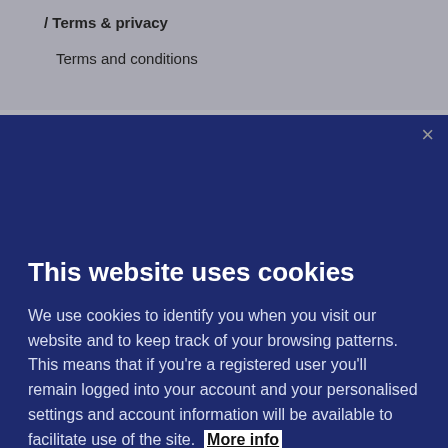/ Terms & privacy
Terms and conditions
This website uses cookies
We use cookies to identify you when you visit our website and to keep track of your browsing patterns. This means that if you're a registered user you'll remain logged into your account and your personalised settings and account information will be available to facilitate use of the site. More info
Accept All Cookies
Cookies Settings